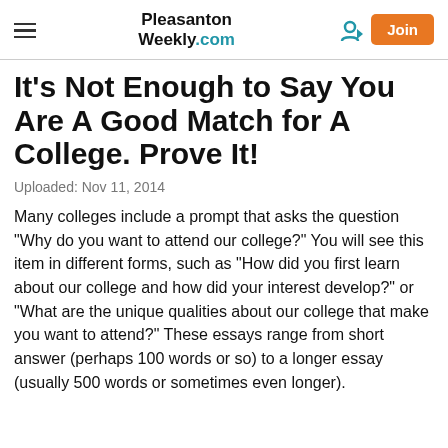Pleasanton Weekly.com
It's Not Enough to Say You Are A Good Match for A College. Prove It!
Uploaded: Nov 11, 2014
Many colleges include a prompt that asks the question "Why do you want to attend our college?" You will see this item in different forms, such as "How did you first learn about our college and how did your interest develop?" or "What are the unique qualities about our college that make you want to attend?" These essays range from short answer (perhaps 100 words or so) to a longer essay (usually 500 words or sometimes even longer).